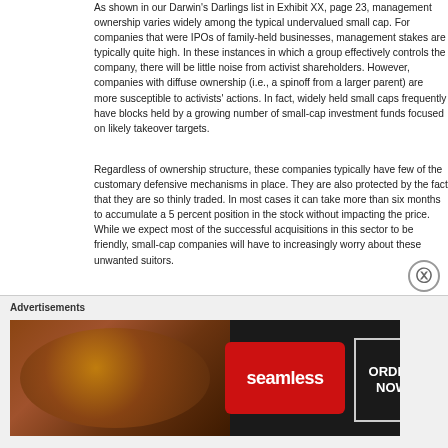As shown in our Darwin's Darlings list in Exhibit XX, page 23, management ownership varies widely among the typical undervalued small cap. For companies that were IPOs of family-held businesses, management stakes are typically quite high. In these instances in which a group effectively controls the company, there will be little noise from activist shareholders. However, companies with diffuse ownership (i.e., a spinoff from a larger parent) are more susceptible to activists' actions. In fact, widely held small caps frequently have blocks held by a growing number of small-cap investment funds focused on likely takeover targets.
Regardless of ownership structure, these companies typically have few of the customary defensive mechanisms in place. They are also protected by the fact that they are so thinly traded. In most cases it can take more than six months to accumulate a 5 percent position in the stock without impacting the price. While we expect most of the successful acquisitions in this sector to be friendly, small-cap companies will have to increasingly worry about these unwanted suitors.
There are several consistent factors that are driving the increased activism among shareholders and, consequently, the increased pressure on management...
[Figure (other): Seamless food delivery advertisement showing pizza image on left, Seamless red logo badge in center, and ORDER NOW button on right with dark background.]